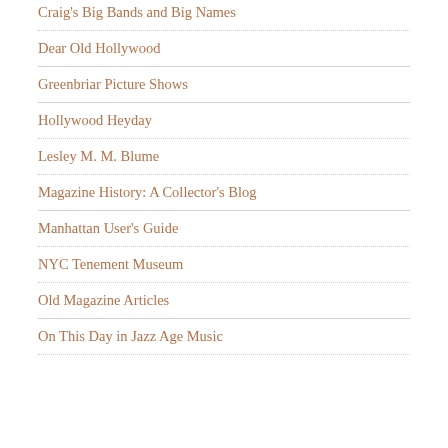Craig's Big Bands and Big Names
Dear Old Hollywood
Greenbriar Picture Shows
Hollywood Heyday
Lesley M. M. Blume
Magazine History: A Collector's Blog
Manhattan User's Guide
NYC Tenement Museum
Old Magazine Articles
On This Day in Jazz Age Music